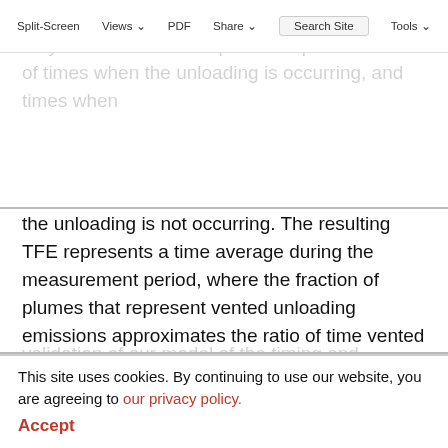Split-Screen  Views  PDF  Share  Tools  Search Site
Therefore, tracer plume data at these facilities may include downwind plumes representative of times when the unloading is occurring, and times when the unloading is not occurring. The resulting TFE represents a time average during the measurement period, where the fraction of plumes that represent vented unloading emissions approximates the ratio of time vented plunger unloading was occurring during the measurement. The TFE and SOE agree within uncertainty bands at all three sites with plunger unloading where the methods were paired (Figure 1), providing some validation of our model of the timing and emission rate for these episodic sources and on a small set of sites.
This site uses cookies. By continuing to use our website, you are agreeing to our privacy policy. Accept